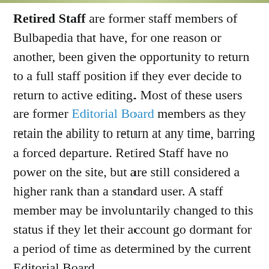Retired Staff are former staff members of Bulbapedia that have, for one reason or another, been given the opportunity to return to a full staff position if they ever decide to return to active editing. Most of these users are former Editorial Board members as they retain the ability to return at any time, barring a forced departure. Retired Staff have no power on the site, but are still considered a higher rank than a standard user. A staff member may be involuntarily changed to this status if they let their account go dormant for a period of time as determined by the current Editorial Board.
It is advised that no member attempt to contact an retired staff member.
List of Inactive Staff